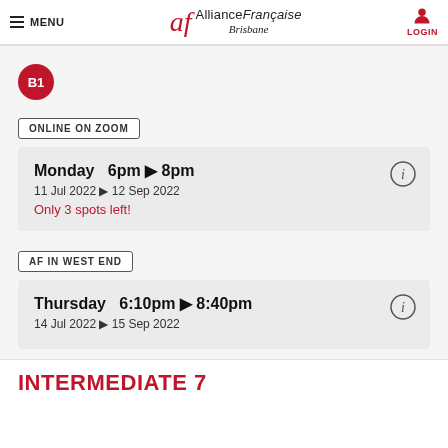MENU | Alliance Française Brisbane | LOGIN
[Figure (logo): Alliance Française Brisbane logo with red 'af' monogram and text]
B1
ONLINE ON ZOOM
Monday  6pm ▶ 8pm
11 Jul 2022 ▶ 12 Sep 2022
Only 3 spots left!
AF IN WEST END
Thursday  6:10pm ▶ 8:40pm
14 Jul 2022 ▶ 15 Sep 2022
INTERMEDIATE 7